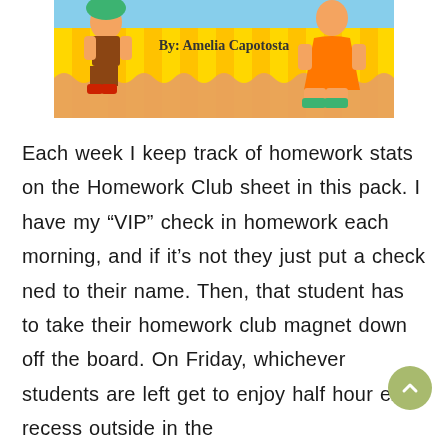[Figure (illustration): Colorful cartoon illustration of children with text 'By: Amelia Capotosta' on a yellow striped background with decorative border]
Each week I keep track of homework stats on the Homework Club sheet in this pack. I have my “VIP” check in homework each morning, and if it’s not they just put a check ned to their name. Then, that student has to take their homework club magnet down off the board. On Friday, whichever students are left get to enjoy half hour extra recess outside in the